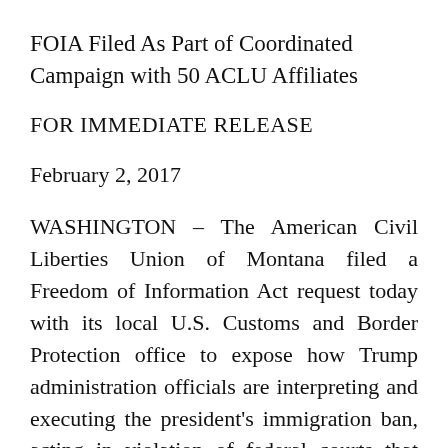FOIA Filed As Part of Coordinated Campaign with 50 ACLU Affiliates
FOR IMMEDIATE RELEASE
February 2, 2017
WASHINGTON – The American Civil Liberties Union of Montana filed a Freedom of Information Act request today with its local U.S. Customs and Border Protection office to expose how Trump administration officials are interpreting and executing the president's immigration ban, acting in violation of federal courts that ordered a stay on the ban's implementation. The filing today is part of a coordinated effort from 50 ACLU affili...